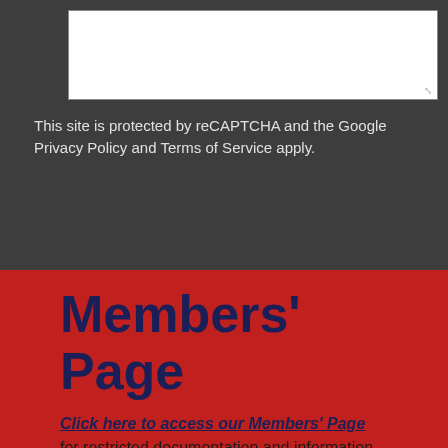[Figure (screenshot): White textarea input box with resize handle in bottom-right corner]
This site is protected by reCAPTCHA and the Google Privacy Policy and Terms of Service apply.
Send Message
Members' Page
Click here to access our Members' Page for restricted documentation and information. Parishioners should email the office for